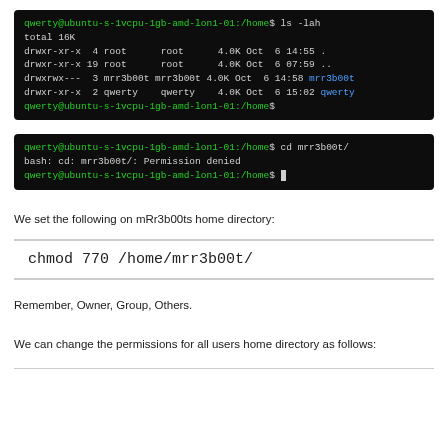[Figure (screenshot): Terminal screenshot showing ls -lah command output listing home directory contents with permissions, owner, group, size, and date columns. Entries include mrr3b00t and qwerty directories.]
[Figure (screenshot): Terminal screenshot showing cd mrr3b00t/ command resulting in bash: cd: mrr3b00t/: Permission denied error.]
We set the following on mRr3b00ts home directory:
chmod 770 /home/mrr3b00t/
Remember, Owner, Group, Others.
We can change the permissions for all users home directory as follows: